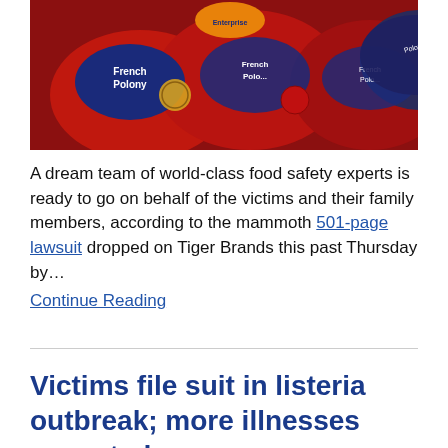[Figure (photo): Photograph of multiple packages of French Polony deli meat with red and blue packaging]
A dream team of world-class food safety experts is ready to go on behalf of the victims and their family members, according to the mammoth 501-page lawsuit dropped on Tiger Brands this past Thursday by…
Continue Reading
Victims file suit in listeria outbreak; more illnesses expected